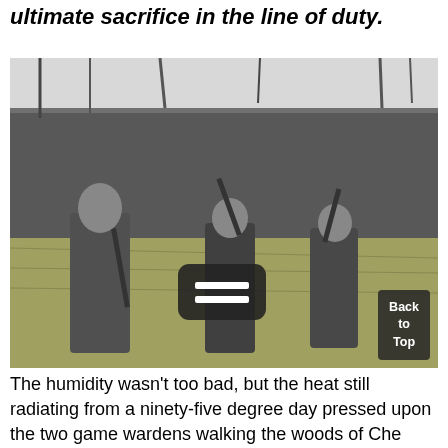ultimate sacrifice in the line of duty.
[Figure (photo): Black and white photograph of three men standing in tall grass with pine trees in the background, each carrying a rifle or shotgun, appearing to be on a hunting trip.]
The humidity wasn't too bad, but the heat still radiating from a ninety-five degree day pressed upon the two game wardens walking the woods of Che[...] tation that night. At the express request of A.A. R[...] director of the then-state